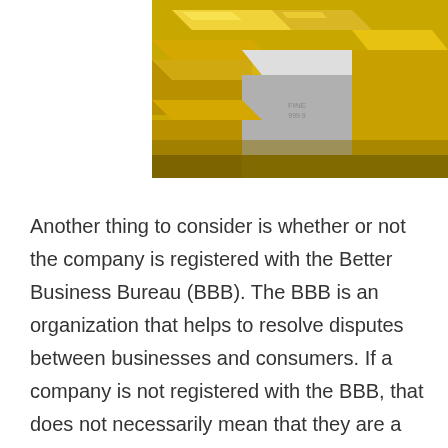[Figure (photo): Photo of gold and silver metallic bars/ingots stacked together, gleaming under light.]
Another thing to consider is whether or not the company is registered with the Better Business Bureau (BBB). The BBB is an organization that helps to resolve disputes between businesses and consumers. If a company is not registered with the BBB, that does not necessarily mean that they are a scam, but it is something to take into